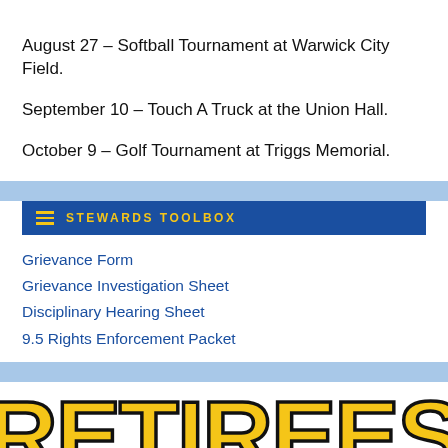August 27 – Softball Tournament at Warwick City Field.
September 10 – Touch A Truck at the Union Hall.
October 9 – Golf Tournament at Triggs Memorial.
STEWARDS TOOLBOX
Grievance Form
Grievance Investigation Sheet
Disciplinary Hearing Sheet
9.5 Rights Enforcement Packet
RETIREES